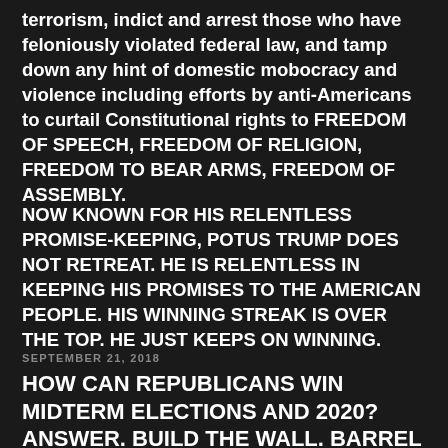terrorism, indict and arrest those who have feloniously violated federal law, and tamp down any hint of domestic mobocracy and violence including efforts by anti-Americans to curtail Constitutional rights to FREEDOM OF SPEECH, FREEDOM OF RELIGION, FREEDOM TO BEAR ARMS, FREEDOM OF ASSEMBLY.
NOW KNOWN FOR HIS RELENTLESS PROMISE-KEEPING, POTUS TRUMP DOES NOT RETREAT. HE IS RELENTLESS IN KEEPING HIS PROMISES TO THE AMERICAN PEOPLE. HIS WINNING STREAK IS OVER THE TOP. HE JUST KEEPS ON WINNING.
SEPTEMBER 21, 2018
HOW CAN REPUBLICANS WIN MIDTERM ELECTIONS AND 2020? ANSWER. BUILD THE WALL. BARREL & PORK.